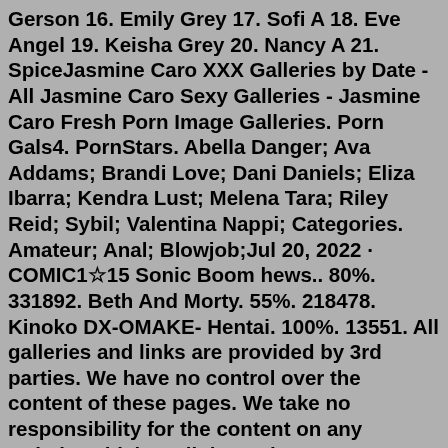Gerson 16. Emily Grey 17. Sofi A 18. Eve Angel 19. Keisha Grey 20. Nancy A 21. SpiceJasmine Caro XXX Galleries by Date - All Jasmine Caro Sexy Galleries - Jasmine Caro Fresh Porn Image Galleries. Porn Gals4. PornStars. Abella Danger; Ava Addams; Brandi Love; Dani Daniels; Eliza Ibarra; Kendra Lust; Melena Tara; Riley Reid; Sybil; Valentina Nappi; Categories. Amateur; Anal; Blowjob;Jul 20, 2022 · COMIC1☆15 Sonic Boom hews.. 80%. 331892. Beth And Morty. 55%. 218478. Kinoko DX-OMAKE- Hentai. 100%. 13551. All galleries and links are provided by 3rd parties. We have no control over the content of these pages. We take no responsibility for the content on any website which we link to, please use your own discretion while surfing the links. Parents, you can easily block access to this site. Please read this page for more information. Jasmine Black Sex HD Pics Gallery Page# 1  1. Charity Crawford 2. Maddy May 3. Little Caprice 4. Lily C 5. Anette Dawn 6. Samantha Saint 7. Candy Alexa 8. Madison Ivy 9. Lana Rhoades 10. Lisa Ann 11. Rebecca More